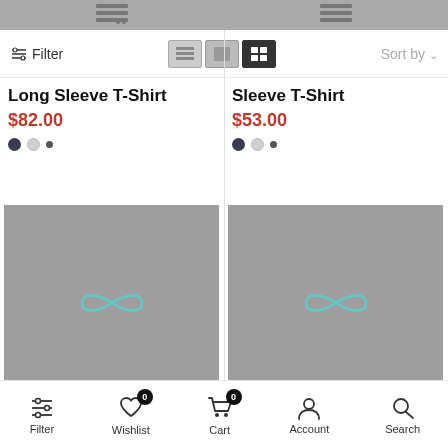[Figure (screenshot): Top navigation bar with cart icons on gray background]
Filter
Sort by
Long Sleeve T-Shirt
$82.00
Sleeve T-Shirt
$53.00
[Figure (photo): Gray placeholder product image left]
[Figure (photo): Gray placeholder product image right]
Filter
Wishlist
Cart
Account
Search